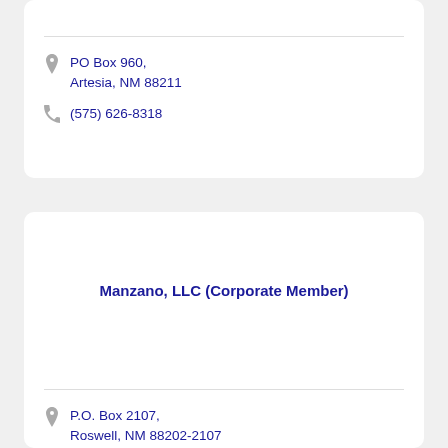PO Box 960, Artesia, NM 88211
(575) 626-8318
Manzano, LLC (Corporate Member)
P.O. Box 2107, Roswell, NM 88202-2107